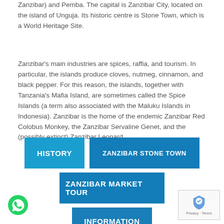Zanzibar) and Pemba. The capital is Zanzibar City, located on the island of Unguja. Its historic centre is Stone Town, which is a World Heritage Site.
Zanzibar's main industries are spices, raffia, and tourism. In particular, the islands produce cloves, nutmeg, cinnamon, and black pepper. For this reason, the islands, together with Tanzania's Mafia Island, are sometimes called the Spice Islands (a term also associated with the Maluku Islands in Indonesia). Zanzibar is the home of the endemic Zanzibar Red Colobus Monkey, the Zanzibar Servaline Genet, and the (possibly extinct) Zanzibar Leopard.
HISTORY
ZANZIBAR STONE TOWN
ZANZIBAR MARKET TOUR
INFORMATION